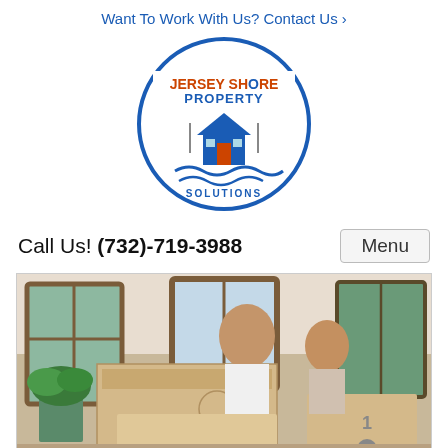Want To Work With Us? Contact Us ›
[Figure (logo): Jersey Shore Property Solutions circular logo with house illustration]
Call Us! (732)-719-3988
Menu
[Figure (photo): A man and a woman smiling, carrying moving boxes inside a house with windows and a potted plant visible]